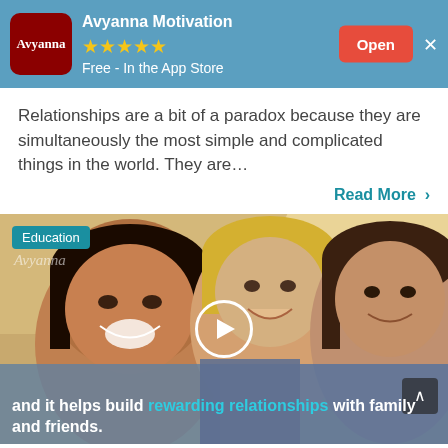Avyanna Motivation | ★★★★★ | Free - In the App Store | Open
Relationships are a bit of a paradox because they are simultaneously the most simple and complicated things in the world. They are…
Read More ›
[Figure (photo): Photo of three smiling children outdoors with sunlight. Overlaid: Education tag, Avyanna watermark, play button, caption text 'and it helps build rewarding relationships with family and friends.']